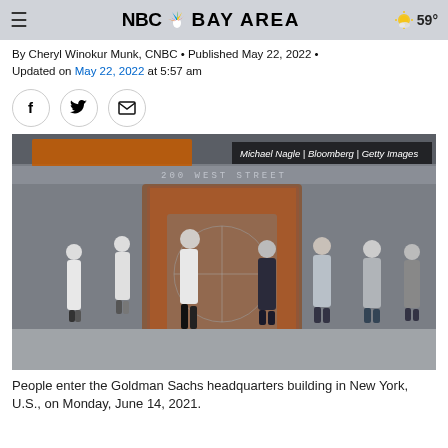NBC BAY AREA  59°
By Cheryl Winokur Munk, CNBC • Published May 22, 2022 • Updated on May 22, 2022 at 5:57 am
[Figure (photo): People entering the Goldman Sachs headquarters building at 200 West Street, New York. Several business-dressed individuals are shown walking through revolving doors. Photo credit: Michael Nagle | Bloomberg | Getty Images]
People enter the Goldman Sachs headquarters building in New York, U.S., on Monday, June 14, 2021.